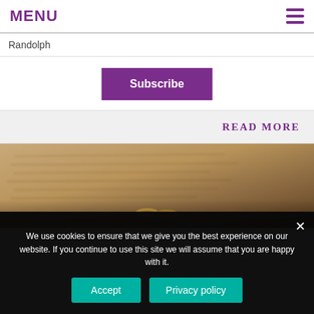MENU
Randolph
Subscribe
READ MORE
[Figure (photo): Close-up photo of wedding rings on a handwritten letter or document, warm brown/tan tones]
We use cookies to ensure that we give you the best experience on our website. If you continue to use this site we will assume that you are happy with it.
Accept
Privacy policy